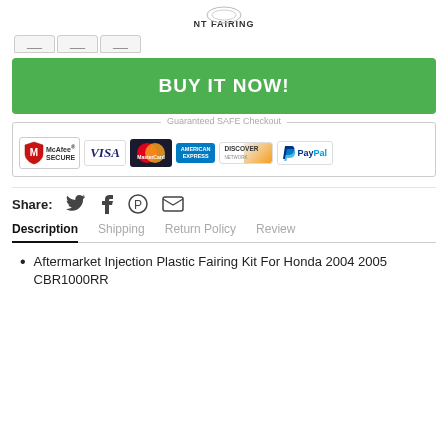NT FAIRING
[Figure (screenshot): Navigation tab buttons (partially visible)]
[Figure (screenshot): Green BUY IT NOW! button]
[Figure (screenshot): Guaranteed SAFE Checkout section with McAfee, Visa, MasterCard, American Express, Discover, PayPal logos]
Share:
Description   Shipping   Return Policy   Review
Aftermarket Injection Plastic Fairing Kit For Honda 2004 2005 CBR1000RR